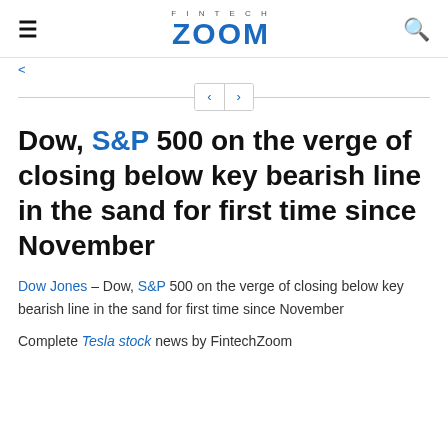FINTECH ZOOM
< >
Dow, S&P 500 on the verge of closing below key bearish line in the sand for first time since November
Dow Jones – Dow, S&P 500 on the verge of closing below key bearish line in the sand for first time since November
Complete Tesla stock news by FintechZoom